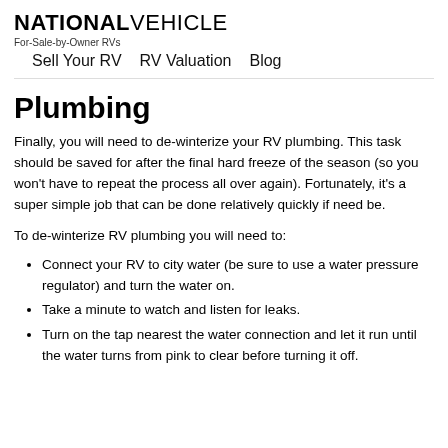NATIONAL VEHICLE For-Sale-by-Owner RVs | Sell Your RV  RV Valuation  Blog
Plumbing
Finally, you will need to de-winterize your RV plumbing. This task should be saved for after the final hard freeze of the season (so you won't have to repeat the process all over again). Fortunately, it's a super simple job that can be done relatively quickly if need be.
To de-winterize RV plumbing you will need to:
Connect your RV to city water (be sure to use a water pressure regulator) and turn the water on.
Take a minute to watch and listen for leaks.
Turn on the tap nearest the water connection and let it run until the water turns from pink to clear before turning it off.